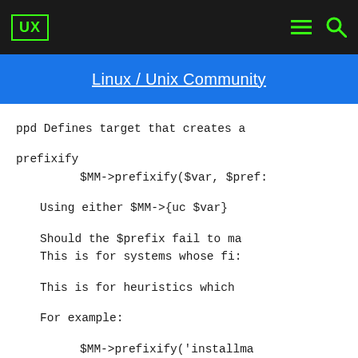UX
Linux / Unix Community
ppd Defines target that creates a
prefixify
            $MM->prefixify($var, $pref:
Using either $MM->{uc $var}
Should the $prefix fail to ma
This is for systems whose fi:
This is for heuristics which
For example:
$MM->prefixify('installma